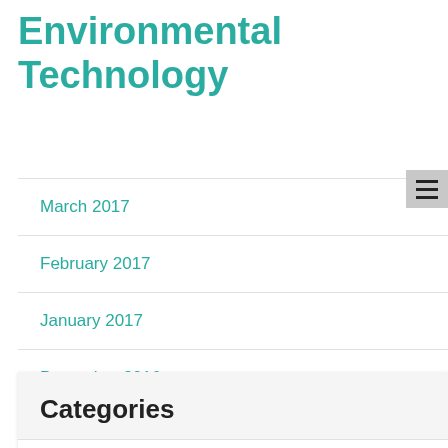Environmental Technology
March 2017
February 2017
January 2017
December 2016
Categories
5G Technology
Best Gadgets
Best Smart Home Devices